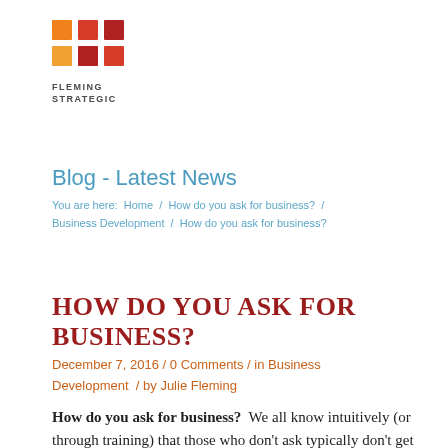[Figure (logo): Fleming Strategic logo with orange/red mosaic grid squares above the company name text]
Blog - Latest News
You are here:  Home  /  How do you ask for business?  /  Business Development  /  How do you ask for business?
HOW DO YOU ASK FOR BUSINESS?
December 7, 2016 / 0 Comments / in Business Development  / by Julie Fleming
How do you ask for business?  We all know intuitively (or through training) that those who don't ask typically don't get business. However,